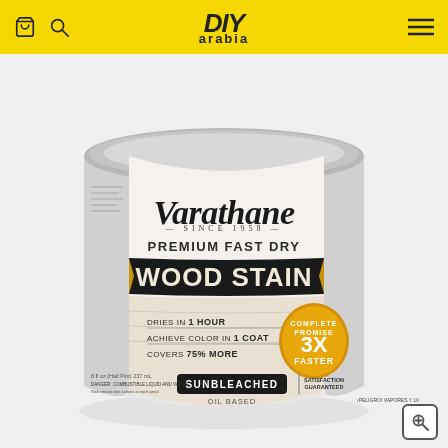DIYarabia – website header with shopping bag icon, search icon, logo, and hamburger menu
[Figure (photo): Varathane Premium Fast Dry Wood Stain in Sunbleached (Oil Based), 237 mL half-pint can. Label reads: Varathane SINCE 1958, PREMIUM FAST DRY, WOOD STAIN. DRIES IN 1 HOUR. ACHIEVE COLOR IN 1 COAT. COVERS 75% MORE. 3X FASTER. COMPLETE PROMISE. SATISFACTION GUARANTEED. DANGER: COMBUSTIBLE LIQUID AND VAPOR.]